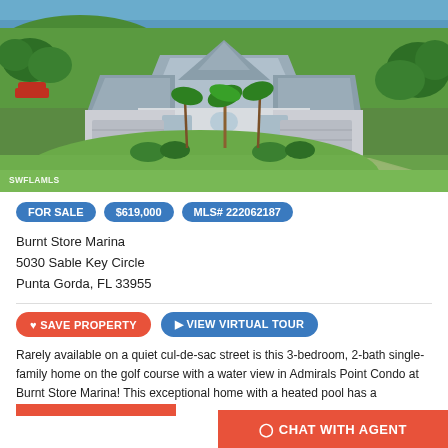[Figure (photo): Aerial view of a single-family home with gray roof, white exterior, palm trees, green lawn, paved driveway, and water/golf course in background. Watermark: SWFLAMLS]
FOR SALE  $619,000  MLS# 222062187
Burnt Store Marina
5030 Sable Key Circle
Punta Gorda, FL 33955
SAVE PROPERTY   VIEW VIRTUAL TOUR
Rarely available on a quiet cul-de-sac street is this 3-bedroom, 2-bath single-family home on the golf course with a water view in Admirals Point Condo at Burnt Store Marina! This exceptional home with a heated pool has a
CHAT WITH AGENT